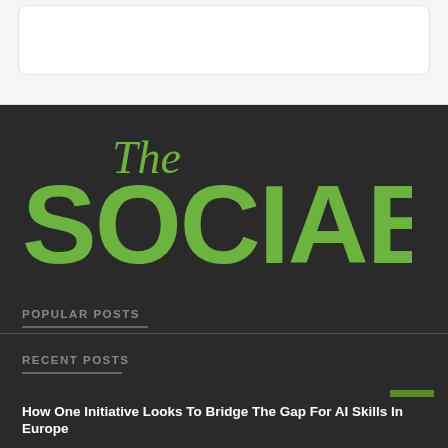[Figure (logo): The Sociable logo in green on dark background, with cursive 'The' above bold 'SOCIABLE' text]
POPULAR POSTS
RECENT POSTS
How One Initiative Looks To Bridge The Gap For AI Skills In Europe